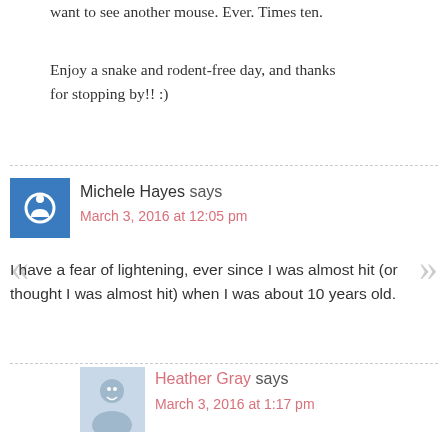want to see another mouse. Ever. Times ten.
Enjoy a snake and rodent-free day, and thanks for stopping by!! :)
Michele Hayes says
March 3, 2016 at 12:05 pm
I have a fear of lightening, ever since I was almost hit (or thought I was almost hit) when I was about 10 years old.
Heather Gray says
March 3, 2016 at 1:17 pm